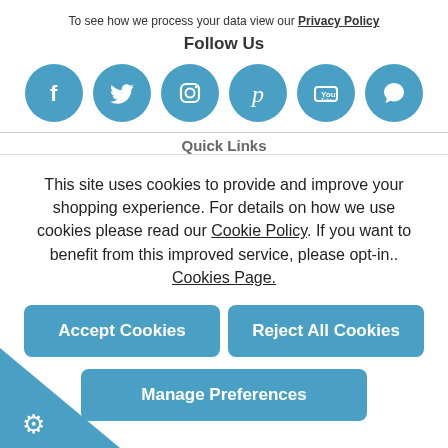To see how we process your data view our Privacy Policy
Follow Us
[Figure (infographic): Six social media icon circles in blue: Facebook, Twitter, Instagram, Pinterest, YouTube, Chat/Comment]
Quick Links
This site uses cookies to provide and improve your shopping experience. For details on how we use cookies please read our Cookie Policy. If you want to benefit from this improved service, please opt-in.. Cookies Page.
Accept Cookies
Reject All Cookies
Manage Preferences